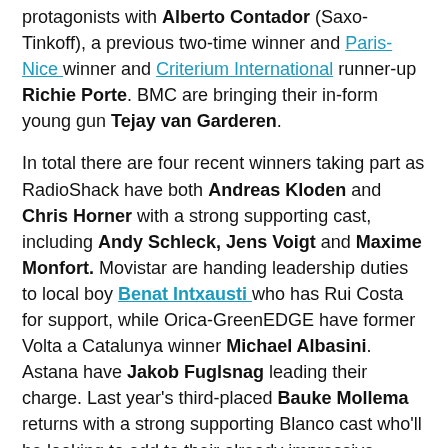protagonists with Alberto Contador (Saxo-Tinkoff), a previous two-time winner and Paris-Nice winner and Criterium International runner-up Richie Porte. BMC are bringing their in-form young gun Tejay van Garderen.

In total there are four recent winners taking part as RadioShack have both Andreas Kloden and Chris Horner with a strong supporting cast, including Andy Schleck, Jens Voigt and Maxime Monfort. Movistar are handing leadership duties to local boy Benat Intxausti who has Rui Costa for support, while Orica-GreenEDGE have former Volta a Catalunya winner Michael Albasini. Astana have Jakob Fuglsnag leading their charge. Last year's third-placed Bauke Mollema returns with a strong supporting Blanco cast who'll be looking to add to their already impressive palmares this season. The French teams too are mounting a challenge with